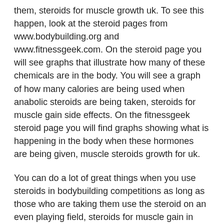them, steroids for muscle growth uk. To see this happen, look at the steroid pages from www.bodybuilding.org and www.fitnessgeek.com. On the steroid page you will see graphs that illustrate how many of these chemicals are in the body. You will see a graph of how many calories are being used when anabolic steroids are being taken, steroids for muscle gain side effects. On the fitnessgeek steroid page you will find graphs showing what is happening in the body when these hormones are being given, muscle steroids growth for uk.
You can do a lot of great things when you use steroids in bodybuilding competitions as long as those who are taking them use the steroid on an even playing field, steroids for muscle gain in india0. That is why bodybuilding and competitive bodybuilding organizations are willing to stand behind